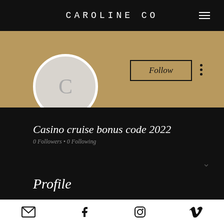CAROLINE CO
[Figure (screenshot): User profile page with tan/gold banner, circular avatar with letter C, Follow button, and profile name 'Casino cruise bonus code 2022' with 0 Followers and 0 Following]
Casino cruise bonus code 2022
0 Followers • 0 Following
Profile
Email, Facebook, Instagram, Vimeo icons